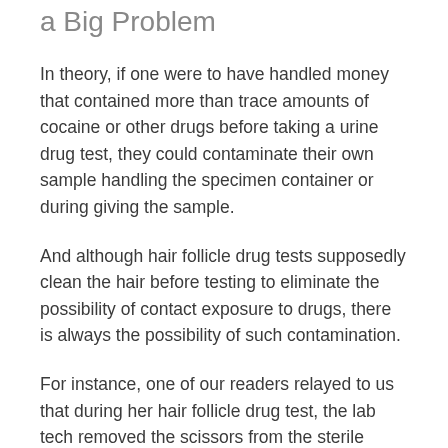a Big Problem
In theory, if one were to have handled money that contained more than trace amounts of cocaine or other drugs before taking a urine drug test, they could contaminate their own sample handling the specimen container or during giving the sample.
And although hair follicle drug tests supposedly clean the hair before testing to eliminate the possibility of contact exposure to drugs, there is always the possibility of such contamination.
For instance, one of our readers relayed to us that during her hair follicle drug test, the lab tech removed the scissors from the sterile packaging and then set them down on an unprotected counter. Even worse, he dropped